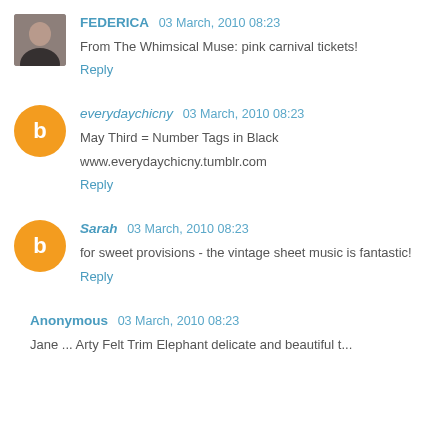FEDERICA 03 March, 2010 08:23
From The Whimsical Muse: pink carnival tickets!
Reply
everydaychicny 03 March, 2010 08:23
May Third = Number Tags in Black
www.everydaychicny.tumblr.com
Reply
Sarah 03 March, 2010 08:23
for sweet provisions - the vintage sheet music is fantastic!
Reply
Anonymous 03 March, 2010 08:23
Jane ... Arty Felt Trim Elephant delicate and beautiful t...